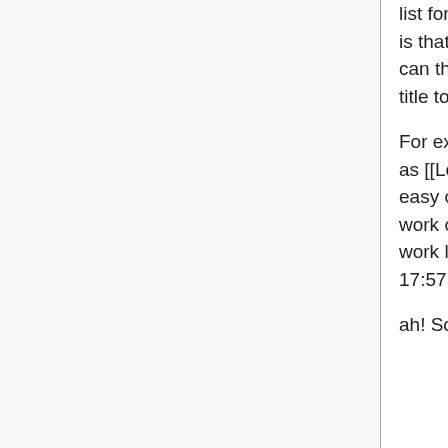list for now rather than hiding the link to the English title. My reasoning is that leaving them be for now will create an army of red links that we can then just click on one by one to create redirects from the French title to the English title of the scenario.
For example, instead of typing [[The Madman|Le fou]], we can leave it as [[Le fou]] for now. That creates a red link: Le fou. But then that's an easy click to get to the page to create a redirect page. If we do the work of hiding the English title in the wiki markup now, we double our work later when trying to make these redirect pages. SavageBob (talk) 17:57, 8 June 2020 (UTC)
ah! Sorry I misunderstood what you intended to do.